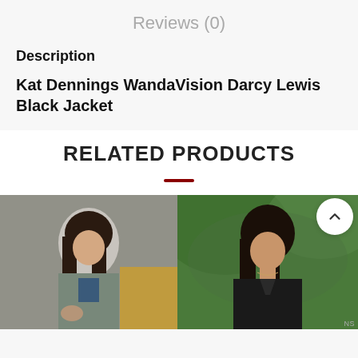Reviews (0)
Description
Kat Dennings WandaVision Darcy Lewis Black Jacket
RELATED PRODUCTS
[Figure (photo): Photo of a young woman with long dark hair wearing a grey-green jacket, outdoors against a brick wall background.]
[Figure (photo): Photo of a young woman with long dark hair wearing a black leather jacket, outdoors against a green foliage background.]